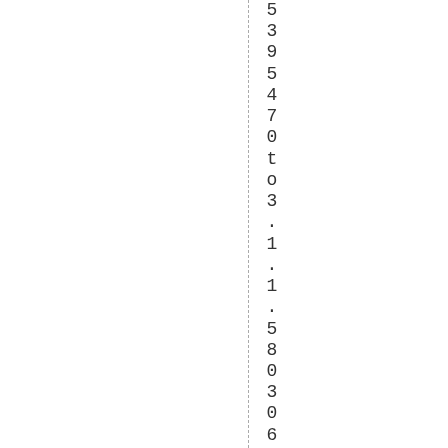5
3
9
5
4
7
0
t
o
3
.
1
.
1
.
5
8
0
3
0
6
4
(
V
C
E
R
C
M
5